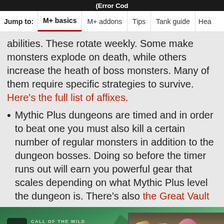(Error Cod
Jump to: M+ basics | M+ addons | Tips | Tank guide | Hea
abilities. These rotate weekly. Some make monsters explode on death, while others increase the heath of boss monsters. Many of them require specific strategies to survive. Here's the full list of affixes.
Mythic Plus dungeons are timed and in order to beat one you must also kill a certain number of regular monsters in addition to the dungeon bosses. Doing so before the timer runs out will earn you powerful gear that scales depending on what Mythic Plus level the dungeon is. There's also the Great Vault
[Figure (photo): Advertisement for 'Call of the Wild: The Angler' game, showing logo with fish icon, 'Available Now on PC' button, and a screenshot of fishing lures hanging.]